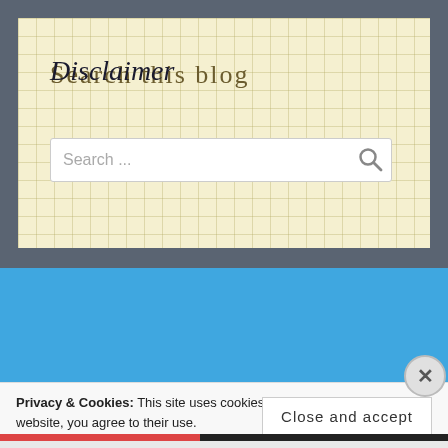Search this blog
[Figure (screenshot): Search input box with placeholder text 'Search ...' and a magnifying glass icon on the right]
Disclaimer
Privacy & Cookies: This site uses cookies. By continuing to use this website, you agree to their use.
To find out more, including how to control cookies, see here: Cookie Policy
Close and accept